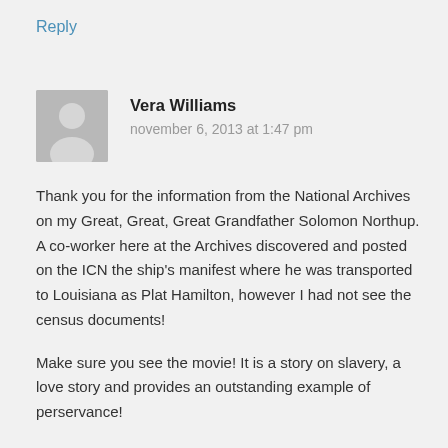Reply
[Figure (illustration): Generic user avatar icon showing a silhouette of a person on a gray background]
Vera Williams
november 6, 2013 at 1:47 pm
Thank you for the information from the National Archives on my Great, Great, Great Grandfather Solomon Northup. A co-worker here at the Archives discovered and posted on the ICN the ship's manifest where he was transported to Louisiana as Plat Hamilton, however I had not see the census documents!
Make sure you see the movie! It is a story on slavery, a love story and provides an outstanding example of perservance!